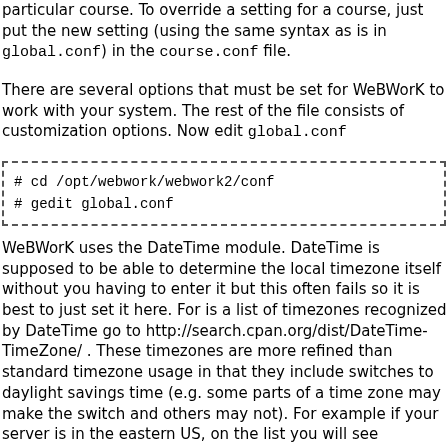particular course. To override a setting for a course, just put the new setting (using the same syntax as is in global.conf) in the course.conf file.
There are several options that must be set for WeBWorK to work with your system. The rest of the file consists of customization options. Now edit global.conf
# cd /opt/webwork/webwork2/conf
# gedit global.conf
WeBWorK uses the DateTime module. DateTime is supposed to be able to determine the local timezone itself without you having to enter it but this often fails so it is best to just set it here. For is a list of timezones recognized by DateTime go to http://search.cpan.org/dist/DateTime-TimeZone/ . These timezones are more refined than standard timezone usage in that they include switches to daylight savings time (e.g. some parts of a time zone may make the switch and others may not). For example if your server is in the eastern US, on the list you will see DateTime::TimeZone::America::New_York and you should replace $siteDefaults{timezone} = ""; by